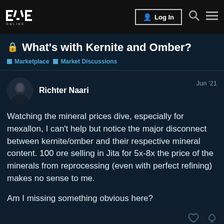EVE ONLINE — Log In
🔒 What's with Kernite and Omber?
Marketplace  Market Discussions
Richter Naari — Jun '21
Watching the mineral prices dive, especially for mexallon, I can't help but notice the major disconnect between kernite/omber and their respective mineral content. 100 ore selling in Jita for 5x-8x the price of the minerals from reprocessing (even with perfect refining) makes no sense to me.

Am I missing something obvious here?